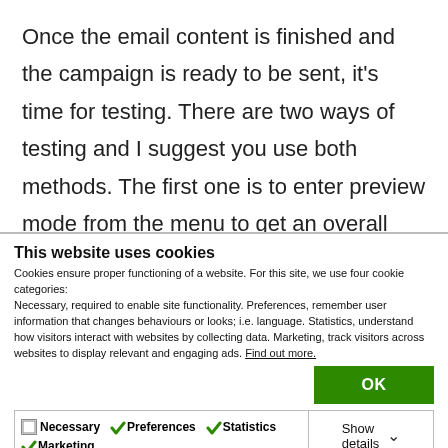Once the email content is finished and the campaign is ready to be sent, it's time for testing. There are two ways of testing and I suggest you use both methods. The first one is to enter preview mode from the menu to get an overall idea of what the campaign will look like.
This website uses cookies
Cookies ensure proper functioning of a website. For this site, we use four cookie categories:
Necessary, required to enable site functionality. Preferences, remember user information that changes behaviours or looks; i.e. language. Statistics, understand how visitors interact with websites by collecting data. Marketing, track visitors across websites to display relevant and engaging ads. Find out more.
OK
Necessary  Preferences  Statistics  Marketing  Show details